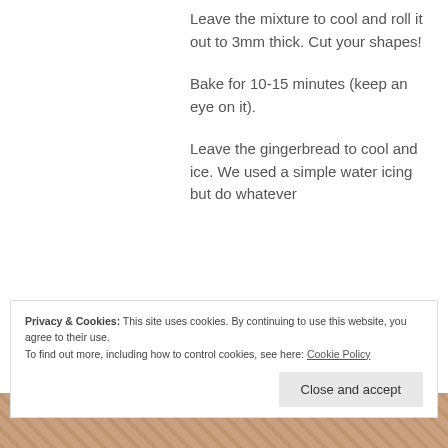g
Leave the mixture to cool and roll it out to 3mm thick. Cut your shapes!
Bake for 10-15 minutes (keep an eye on it).
Leave the gingerbread to cool and ice. We used a simple water icing but do whatever
Privacy & Cookies: This site uses cookies. By continuing to use this website, you agree to their use.
To find out more, including how to control cookies, see here: Cookie Policy
Close and accept
[Figure (photo): Bottom strip showing gingerbread cookies with icing decoration]